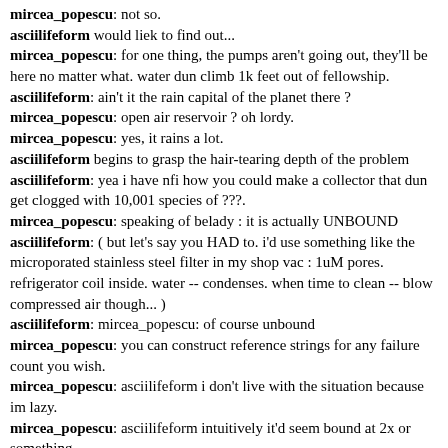mircea_popescu: not so.
asciilifeform would liek to find out...
mircea_popescu: for one thing, the pumps aren't going out, they'll be here no matter what. water dun climb 1k feet out of fellowship.
asciilifeform: ain't it the rain capital of the planet there ?
mircea_popescu: open air reservoir ? oh lordy.
mircea_popescu: yes, it rains a lot.
asciilifeform begins to grasp the hair-tearing depth of the problem
asciilifeform: yea i have nfi how you could make a collector that dun get clogged with 10,001 species of ???.
mircea_popescu: speaking of belady : it is actually UNBOUND
asciilifeform: ( but let's say you HAD to. i'd use something like the microporated stainless steel filter in my shop vac : 1uM pores. refrigerator coil inside. water -- condenses. when time to clean -- blow compressed air though... )
asciilifeform: mircea_popescu: of course unbound
mircea_popescu: you can construct reference strings for any failure count you wish.
mircea_popescu: asciilifeform i don't live with the situation because im lazy.
mircea_popescu: asciilifeform intuitively it'd seem bound at 2x or something.
asciilifeform: mircea_popescu: pretty nifty undergrad exercise.
mircea_popescu: asciilifeform to illustrate the "10`001" species, did i ever recount the time my toilet was clogged -- by an aligator?